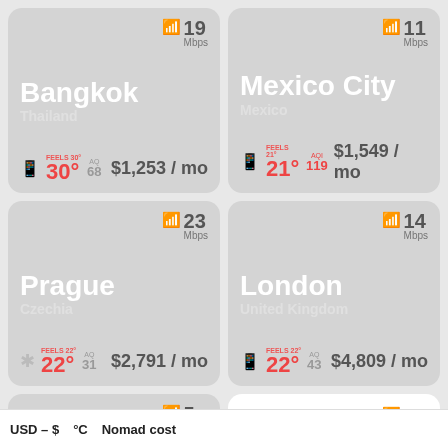[Figure (infographic): Bangkok, Thailand city card with WiFi 19 Mbps, temperature feels 30°, AQ 68, cost $1,253/mo]
[Figure (infographic): Mexico City, Mexico city card with WiFi 11 Mbps, temperature feels 21°, AQI 119 (red), cost $1,549/mo]
[Figure (infographic): Prague, Czechia city card with WiFi 23 Mbps, temperature feels 22°, AQ 31, cost $2,791/mo]
[Figure (infographic): London, United Kingdom city card with WiFi 14 Mbps, temperature feels 22°, AQ 43, cost $4,809/mo]
[Figure (infographic): Partial city card with WiFi 5 Mbps]
[Figure (infographic): Partial card with WiFi 36 Mbps and Messages label]
USD – $   °C   Nomad cost